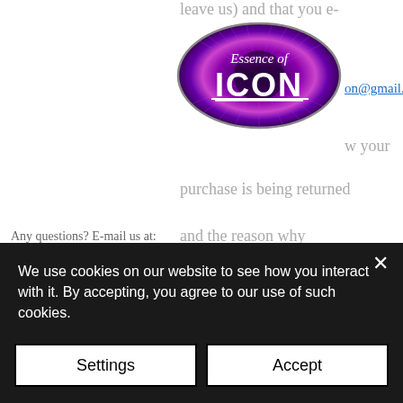leave us) and that you e-
[Figure (logo): Essence of ICON logo - oval shaped logo with purple eye/iris background, text 'Essence of' in italic script and 'ICON' in bold white letters with underline]
on@gmail.com
w your
purchase is being returned
Any questions? E-mail us at: and the reason why
essenceoficon@gmail.com BEFORE you return it;
Returned by some form of signed for postage (N.B. In
NO CIRCUMSTANCES
will we refund any costs that you incur in returning your items to us); and
Received no later than the
We use cookies on our website to see how you interact with it. By accepting, you agree to our use of such cookies.